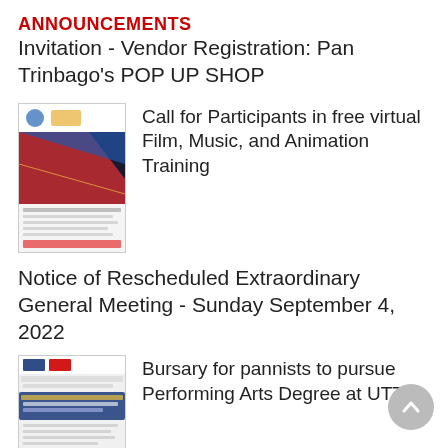ANNOUNCEMENTS
Invitation - Vendor Registration: Pan Trinbago's POP UP SHOP
[Figure (illustration): Thumbnail image for Call for Participants in free virtual Film, Music, and Animation Training flyer]
Call for Participants in free virtual Film, Music, and Animation Training
Notice of Rescheduled Extraordinary General Meeting - Sunday September 4, 2022
[Figure (illustration): Thumbnail image for Artistic Bursary flyer - NICCI and UTT logos visible]
Bursary for pannists to pursue Performing Arts Degree at UTT